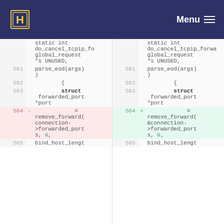Menu
[Figure (screenshot): Side-by-side diff view of source code. Left panel shows removed line 564 with 'connection->forwarded_ports, 0,' and right panel shows added line 564 with '&connection->forwarded_ports, 0,'. Both panels show lines 561-565 with code including static int do_cancel_tcpip_fo/forward, global_request, *s UNUSED, parse_eod(args), {, struct forwarded_port *port = remove_forward(...), and bind_host_lengt.]